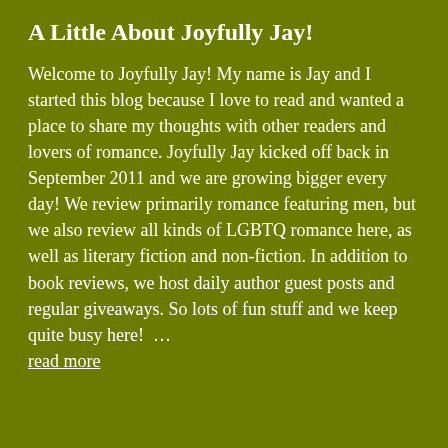A Little About Joyfully Jay!
Welcome to Joyfully Jay! My name is Jay and I started this blog because I love to read and wanted a place to share my thoughts with other readers and lovers of romance. Joyfully Jay kicked off back in September 2011 and we are growing bigger every day! We review primarily romance featuring men, but we also review all kinds of LGBTQ romance here, as well as literary fiction and non-fiction. In addition to book reviews, we host daily author guest posts and regular giveaways. So lots of fun stuff and we keep quite busy here! … read more
We use cookies to ensure that we give you the best experience on our website. If you click ok and continue to use our site that indicates your acceptance of the cookies.
Ok   Read more